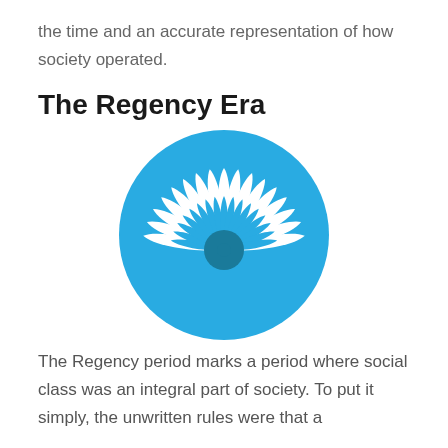the time and an accurate representation of how society operated.
The Regency Era
[Figure (illustration): A blue circle containing a white decorative fan/peacock feather design with a dark teal circular center — a stylized emblem on a light background.]
The Regency period marks a period where social class was an integral part of society. To put it simply, the unwritten rules were that a